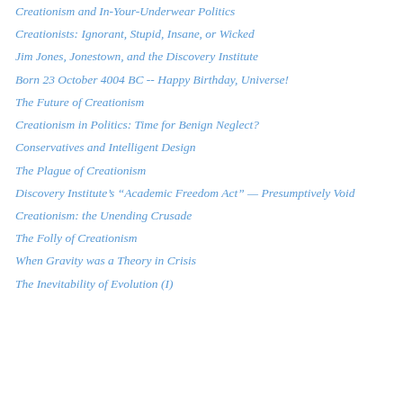Creationism and In-Your-Underwear Politics
Creationists: Ignorant, Stupid, Insane, or Wicked
Jim Jones, Jonestown, and the Discovery Institute
Born 23 October 4004 BC -- Happy Birthday, Universe!
The Future of Creationism
Creationism in Politics: Time for Benign Neglect?
Conservatives and Intelligent Design
The Plague of Creationism
Discovery Institute's “Academic Freedom Act” — Presumptively Void
Creationism: the Unending Crusade
The Folly of Creationism
When Gravity was a Theory in Crisis
The Inevitability of Evolution (I)